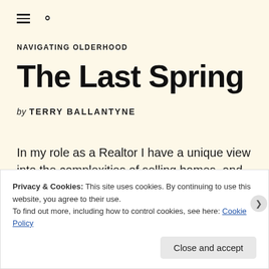≡ 🔍
NAVIGATING OLDERHOOD
The Last Spring
by TERRY BALLANTYNE
In my role as a Realtor I have a unique view into the complexities of selling homes, and none is more layered and surprisingly emotional than selling the family home or a parent's home.
Privacy & Cookies: This site uses cookies. By continuing to use this website, you agree to their use.
To find out more, including how to control cookies, see here: Cookie Policy